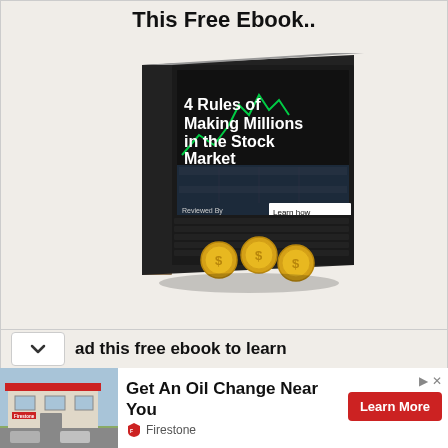This Free Ebook..
[Figure (illustration): Book cover showing '4 Rules of Making Millions in the Stock Market' with a laptop screen showing stock charts, gold coins, and text 'Learn how exactly to retire as a multi millionaire'. Reviewed By INDRAJIT MUKHERJEE.]
ad this free ebook to learn
[Figure (photo): Firestone auto service store exterior photo]
Get An Oil Change Near You
Firestone
Learn More